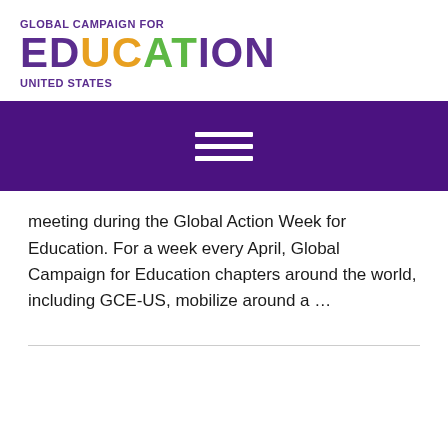[Figure (logo): Global Campaign for Education United States logo with multicolor text]
[Figure (other): Purple navigation bar with hamburger menu icon (three horizontal white lines)]
meeting during the Global Action Week for Education. For a week every April, Global Campaign for Education chapters around the world, including GCE-US, mobilize around a …